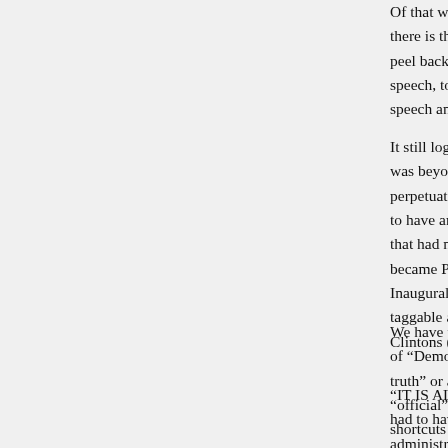Of that we are not now safer than before h there is that we are of times fit of hearings peel back, however, as if a live dissection, speech, too long of a fog of “transparency” speech and “campaign” rhetoric - oddly as
It still logically and historically is impossib was beyond “campaign” rhetoric and to “o perpetuated lie.  This has been a lie that ma to have any standing for “Diplomacy” - it  that had no place becoming an “official” s became President Obama.  For such Presid Inaugural Speech been himself specifically taggable and hashable that such is scandal Clintons (and Democrat Party Leadership)
We have that we were cheated by many of of “Democrat Party Leadership” both with truth” or a “lie” so either when “campaign “official” speech as they cheaply proceede shortcuts with “#BlameAndGo” divisive a politics.
“IT IS ALL BUSH’S FAULT” is and was a had to have been some or much of a fault c administration from 1993-2001.  The Cli